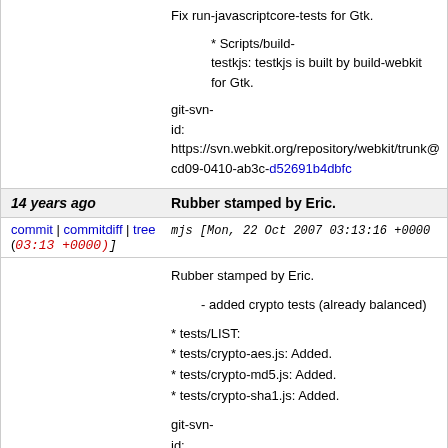Fix run-javascriptcore-tests for Gtk.

* Scripts/build-testkjs: testkjs is built by build-webkit for Gtk.

git-svn-id: https://svn.webkit.org/repository/webkit/trunk@cd09-0410-ab3c-d52691b4dbfc
14 years ago	Rubber stamped by Eric.
commit | commitdiff | tree (03:13 +0000)]	mjs [Mon, 22 Oct 2007 03:13:16 +0000 (03:13 +0000)]
Rubber stamped by Eric.

- added crypto tests (already balanced)

* tests/LIST:
* tests/crypto-aes.js: Added.
* tests/crypto-md5.js: Added.
* tests/crypto-sha1.js: Added.

git-svn-id: https://svn.webkit.org/repository/webkit/trunk@cd09-0410-ab3c-d52691b4dbfc
14 years ago	2007-10-21 Mark Rowe